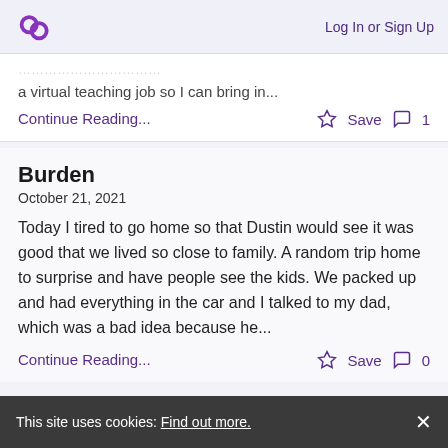Log In or Sign Up
a virtual teaching job so I can bring in...
Continue Reading...  ☆ Save  1
Burden
October 21, 2021
Today I tired to go home so that Dustin would see it was good that we lived so close to family. A random trip home to surprise and have people see the kids. We packed up and had everything in the car and I talked to my dad, which was a bad idea because he...
Continue Reading...  ☆ Save  0
This site uses cookies: Find out more.